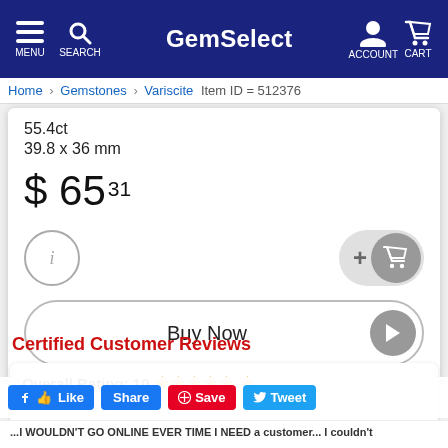GemSelect — MENU, SEARCH, ACCOUNT, CART
Home > Gemstones > Variscite > Item ID = 512376
55.4ct
39.8 x 36 mm
$ 65 31
Certified Customer Reviews
Overall Rating: 10 ★★★★★